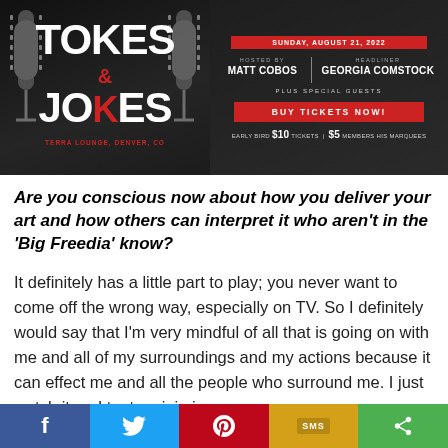[Figure (infographic): Tokes & Jokes comedy event banner. Dark background with microphone graphics. Left side: large white text 'TOKES & JOKES' with red ampersand, venue text 'TERRA LOUNGE, DENVER, CO' in red. Right side: date 'SUNDAY, AUGUST 21, 2022', hosted by MATT COBOS, headliner GEORGIA COMSTOCK, PLUS SPECIAL GUESTS, red BUY TICKETS NOW button, early bird tickets $10 | $5 members.]
Are you conscious now about how you deliver your art and how others can interpret it who aren’t in the ‘Big Freedia’ know?
It definitely has a little part to play; you never want to come off the wrong way, especially on TV. So I definitely would say that I’m very mindful of all that is going on with me and all of my surroundings and my actions because it can effect me and all the people who surround me. I just watch it and try to minimize